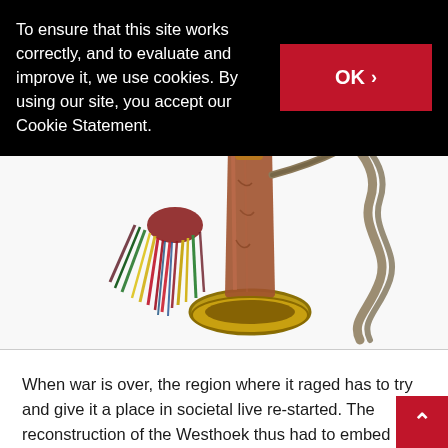To ensure that this site works correctly, and to evaluate and improve it, we use cookies. By using our site, you accept our Cookie Statement.
[Figure (photo): A military bugle or horn with a brass bell, copper/brown body, colorful tassels (red, yellow, green, blue) hanging from the mouthpiece side, and a braided rope/lanyard on the right side, photographed on a white background.]
When war is over, the region where it raged has to try and give it a place in societal live re-started. The reconstruction of the Westhoek thus had to embed cemeteries, or to establish new ones, whereas various communities wanted war monuments built. Pilgrims too and visitors in search of the past determined the revival and rituals such as the Last Post and the Yser Pilgrimage